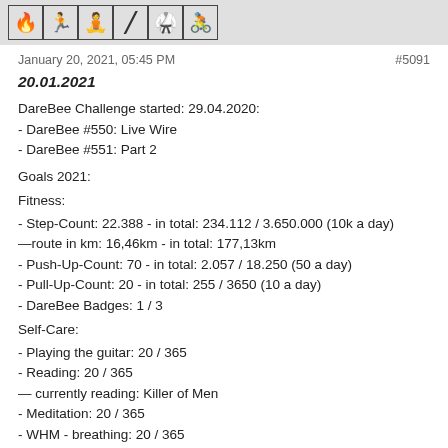[Figure (other): Row of 6 activity icons in bordered boxes: flame, running figure, yoga/meditation figure, diagonal line/slash, martial arts figure, cycling figure]
January 20, 2021, 05:45 PM   #5091
20.01.2021
DareBee Challenge started: 29.04.2020:
- DareBee #550: Live Wire
- DareBee #551: Part 2
Goals 2021:
Fitness:
- Step-Count: 22.388 - in total: 234.112 / 3.650.000 (10k a day)
—route in km: 16,46km - in total: 177,13km
- Push-Up-Count: 70 - in total: 2.057 / 18.250 (50 a day)
- Pull-Up-Count: 20 - in total: 255 / 3650 (10 a day)
- DareBee Badges: 1 / 3
Self-Care:
- Playing the guitar: 20 / 365
- Reading: 20 / 365
— currently reading: Killer of Men
- Meditation: 20 / 365
- WHM - breathing: 20 / 365
— achieving at least 1 focus accomplished: 7 / 50